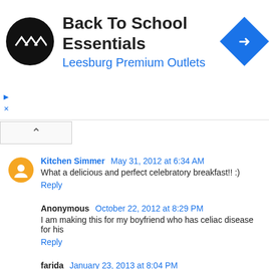[Figure (infographic): Ad banner: Back To School Essentials, Leesburg Premium Outlets, with circular black logo and blue diamond navigation icon]
Back To School Essentials
Leesburg Premium Outlets
Kitchen Simmer  May 31, 2012 at 6:34 AM
What a delicious and perfect celebratory breakfast!! :)
Reply
Anonymous  October 22, 2012 at 8:29 PM
I am making this for my boyfriend who has celiac disease for his
Reply
farida  January 23, 2013 at 8:04 PM
That looks so fresh and delicious, love this recipe.
Thanks for share